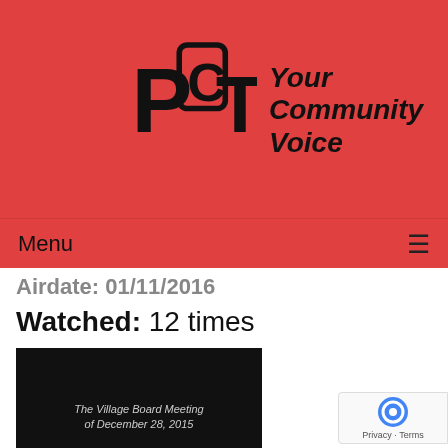[Figure (logo): PCTV logo with handwritten-style letters PC and TV inside a rounded rectangle shape, next to italic bold text 'Your Community Voice' on a red background]
Menu ≡
Airdate: 01/11/2016
Watched: 12 times
[Figure (screenshot): Black thumbnail image with white text reading 'The Village Board Meeting of December 28, 2015']
The Village Board Meeting of 12-28-15
Airdate: 12/28/2015